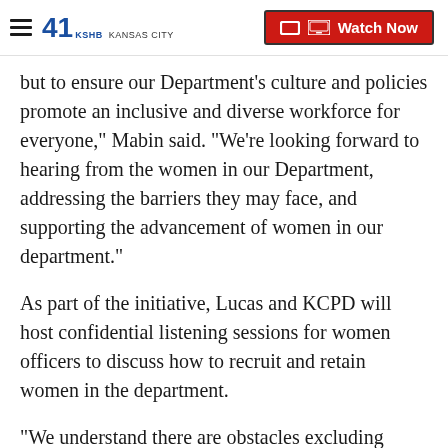41 KSHB KANSAS CITY | Watch Now
but to ensure our Department’s culture and policies promote an inclusive and diverse workforce for everyone,” Mabin said. “We’re looking forward to hearing from the women in our Department, addressing the barriers they may face, and supporting the advancement of women in our department.”
As part of the initiative, Lucas and KCPD will host confidential listening sessions for women officers to discuss how to recruit and retain women in the department.
“We understand there are obstacles excluding women from a career in public safety, or even from advancing to a leadership position, including shift work and lack